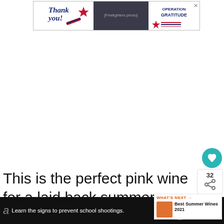[Figure (other): Top advertisement banner for Operation Gratitude with 'Thank you!' text, firefighters photo, and Operation Gratitude logo with stars.]
This is the perfect pink wine for a laid back summer evening. A fruity wine, not too sweet, not too dry and with f juicy strawberries, just a hint of lime and a
[Figure (other): Heart/like button (teal circle with heart icon) and share button panel showing count 32]
[Figure (other): What's Next panel showing 'Best Summer Wines 2021' with thumbnail]
[Figure (other): Bottom advertisement banner: 'Learn the signs to prevent school shootings.' Sandy Hook Promise logo on dark background]